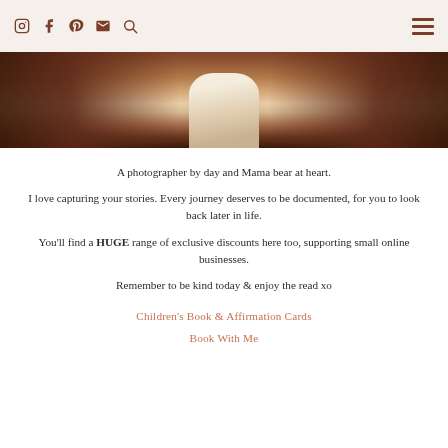Social media icons: Instagram, Facebook, Pinterest, Email, Search, Menu
[Figure (photo): A woman in a white lace dress standing in a field of dry brown grass, photographed from the waist down, dark moody tones.]
A photographer by day and Mama bear at heart.
I love capturing your stories. Every journey deserves to be documented, for you to look back later in life.
You'll find a HUGE range of exclusive discounts here too, supporting small online businesses.
Remember to be kind today & enjoy the read xo
Children's Book & Affirmation Cards
Book With Me